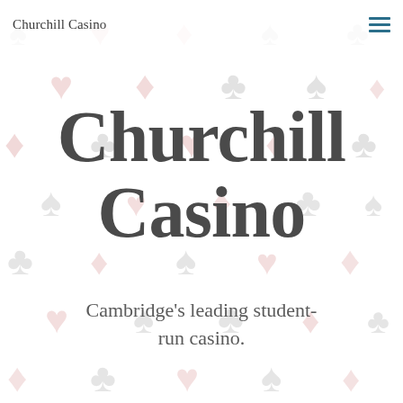Churchill Casino
Churchill Casino
Cambridge's leading student-run casino.